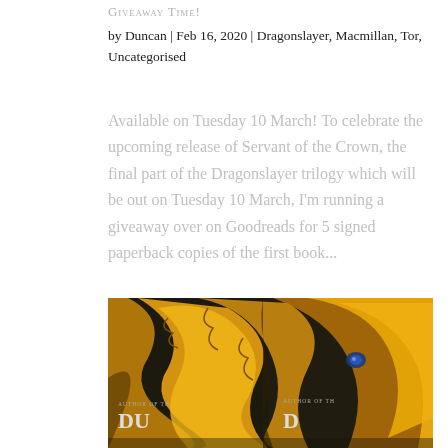Giveaway Time!
by Duncan | Feb 16, 2020 | Dragonslayer, Macmillan, Tor, Uncategorised
Available on Tuesday 10 March! To celebrate the upcoming release of Servant of the Crown, the final part of the Dragonslayer trilogy which will be out on Tuesday 10 March, I'm running a giveaway over on Goodreads for 5 signed paperback copies of the first book...
[Figure (photo): Two copies of a book with a dragon on the cover, showing fiery yellow-gold dragon artwork. Text on cover reads 'AUTHOR OF TH...' and 'DU...' visible at bottom.]